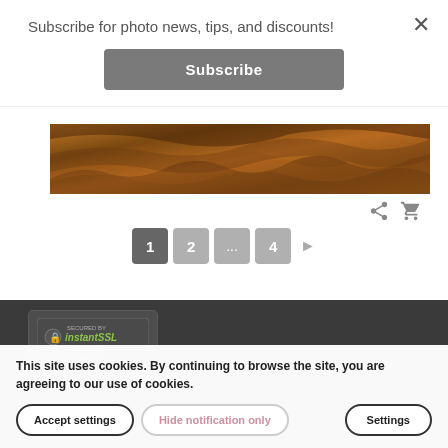Subscribe for photo news, tips, and discounts!
Subscribe
[Figure (photo): Panoramic landscape photo showing orange/brown desert rock formations, likely Death Valley or similar arid landscape.]
1 2 ... 4 ▶
[Figure (logo): Secured by instantSSL badge in dark footer area]
Reserved | Term...
This site uses cookies. By continuing to browse the site, you are agreeing to our use of cookies.
Accept settings
Hide notification only
Settings